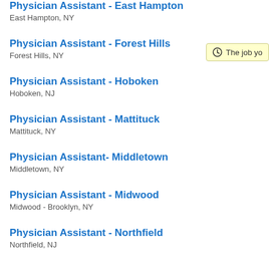Physician Assistant - East Hampton
East Hampton, NY
Physician Assistant - Forest Hills
Forest Hills, NY
Physician Assistant - Hoboken
Hoboken, NJ
Physician Assistant - Mattituck
Mattituck, NY
Physician Assistant- Middletown
Middletown, NY
Physician Assistant - Midwood
Midwood - Brooklyn, NY
Physician Assistant - Northfield
Northfield, NJ